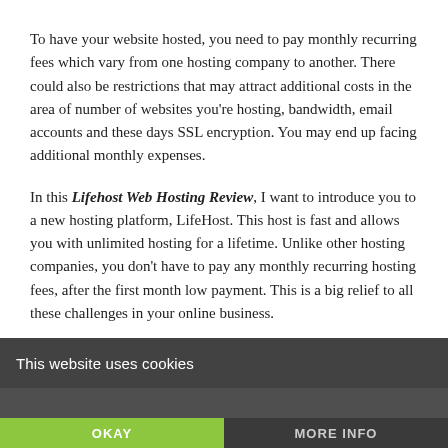To have your website hosted, you need to pay monthly recurring fees which vary from one hosting company to another. There could also be restrictions that may attract additional costs in the area of number of websites you're hosting, bandwidth, email accounts and these days SSL encryption. You may end up facing additional monthly expenses.
In this Lifehost Web Hosting Review, I want to introduce you to a new hosting platform, LifeHost. This host is fast and allows you with unlimited hosting for a lifetime. Unlike other hosting companies, you don't have to pay any monthly recurring hosting fees, after the first month low payment. This is a big relief to all these challenges in your online business.
Lifehost allows you to host Unlimited Websites and domains with Unlimited Bandwidth including Unlimited Free end-to-end SSL encryption that protects your websites & unlimited personalized business email accounts for a One Time Low fee. Besides, LifeHost will host your website with fastest load time & 100% uptime. The
This website uses cookies
OKAY
MORE INFO